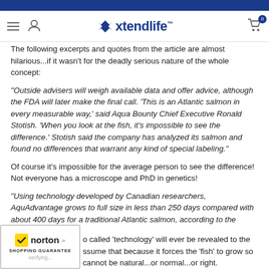xtendlife navigation bar
The following excerpts and quotes from the article are almost hilarious...if it wasn't for the deadly serious nature of the whole concept:
"Outside advisers will weigh available data and offer advice, although the FDA will later make the final call. 'This is an Atlantic salmon in every measurable way,' said Aqua Bounty Chief Executive Ronald Stotish. 'When you look at the fish, it's impossible to see the difference.' Stotish said the company has analyzed its salmon and found no differences that warrant any kind of special labeling."
Of course it's impossible for the average person to see the difference! Not everyone has a microscope and PhD in genetics!
"Using technology developed by Canadian researchers, AquAdvantage grows to full size in less than 250 days compared with about 400 days for a traditional Atlantic salmon, according to the biotech."
...so called 'technology' will ever be revealed to the ...ssume that because it forces the 'fish' to grow so ...cannot be natural...or normal...or right.